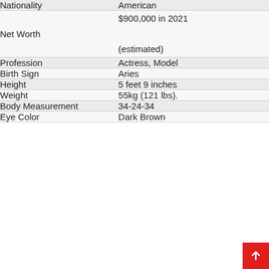| Field | Value |
| --- | --- |
| Nationality | American |
| Net Worth | $900,000 in 2021
(estimated) |
| Profession | Actress, Model |
| Birth Sign | Aries |
| Height | 5 feet 9 inches |
| Weight | 55kg (121 lbs). |
| Body Measurement | 34-24-34 |
| Eye Color | Dark Brown |